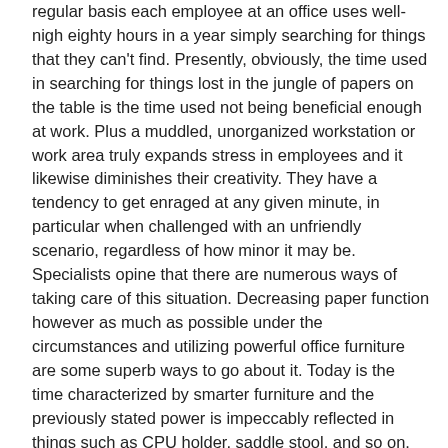regular basis each employee at an office uses well-nigh eighty hours in a year simply searching for things that they can't find. Presently, obviously, the time used in searching for things lost in the jungle of papers on the table is the time used not being beneficial enough at work. Plus a muddled, unorganized workstation or work area truly expands stress in employees and it likewise diminishes their creativity. They have a tendency to get enraged at any given minute, in particular when challenged with an unfriendly scenario, regardless of how minor it may be. Specialists opine that there are numerous ways of taking care of this situation. Decreasing paper function however as much as possible under the circumstances and utilizing powerful office furniture are some superb ways to go about it. Today is the time characterized by smarter furniture and the previously stated power is impeccably reflected in things such as CPU holder, saddle stool, and so on. The age-old design of cabinets has also been changed to suit the necessities of current workplaces.
The Tambour door cupboard must be mentioned in this regard. They do not need space for doors to swing back. They withdraw into the cabinet itself, sliding on exceptional tracks in the design. This consumes no extra space outside the item and almost no space inside it. Thus, these are much less demanding in terms of space and are known to fit into tiny